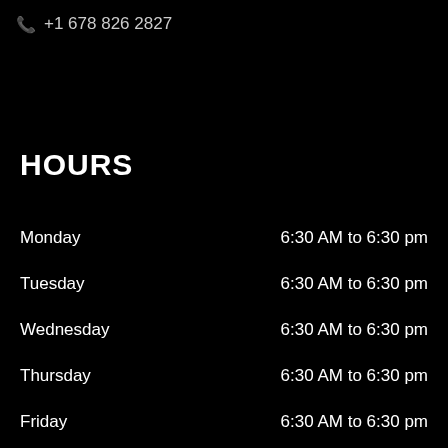+1 678 826 2827
HOURS
Monday  6:30 AM to 6:30 pm
Tuesday  6:30 AM to 6:30 pm
Wednesday  6:30 AM to 6:30 pm
Thursday  6:30 AM to 6:30 pm
Friday  6:30 AM to 6:30 pm
Saturday  Closed
Sunday  Closed